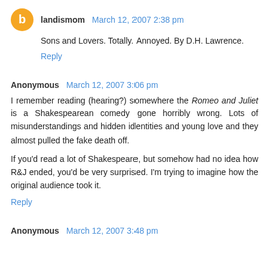landismom March 12, 2007 2:38 pm
Sons and Lovers. Totally. Annoyed. By D.H. Lawrence.
Reply
Anonymous March 12, 2007 3:06 pm
I remember reading (hearing?) somewhere the Romeo and Juliet is a Shakespearean comedy gone horribly wrong. Lots of misunderstandings and hidden identities and young love and they almost pulled the fake death off.

If you'd read a lot of Shakespeare, but somehow had no idea how R&J ended, you'd be very surprised. I'm trying to imagine how the original audience took it.
Reply
Anonymous March 12, 2007 3:48 pm